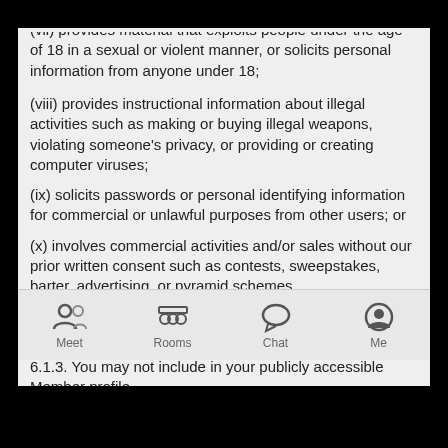(vii) provides material that exploits people under the age of 18 in a sexual or violent manner, or solicits personal information from anyone under 18;
(viii) provides instructional information about illegal activities such as making or buying illegal weapons, violating someone's privacy, or providing or creating computer viruses;
(ix) solicits passwords or personal identifying information for commercial or unlawful purposes from other users; or
(x) involves commercial activities and/or sales without our prior written consent such as contests, sweepstakes, barter, advertising, or pyramid schemes.
6.1.2. You must use the Services in a manner consistent with any and all applicable laws and regulations.
6.1.3. You may not include in your publicly accessible Member profile
Meet  Rooms  Chat  Me